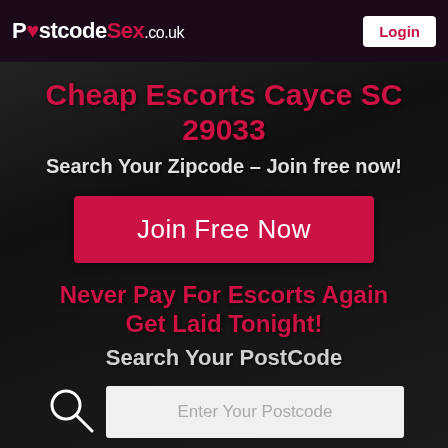PostcodeSex.co.uk  Login
Cheap Escorts Cayce SC 29033
Search Your Zipcode – Join free now!
Join Free Now
Never Pay For Escorts Again Get Laid Tonight!
Search Your PostCode
Enter Your Postcode